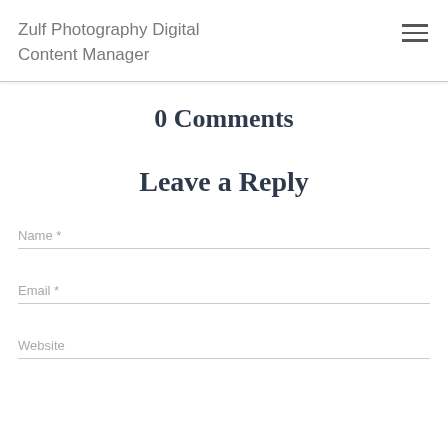Zulf Photography Digital Content Manager
0 Comments
Leave a Reply
Name *
Email *
Website